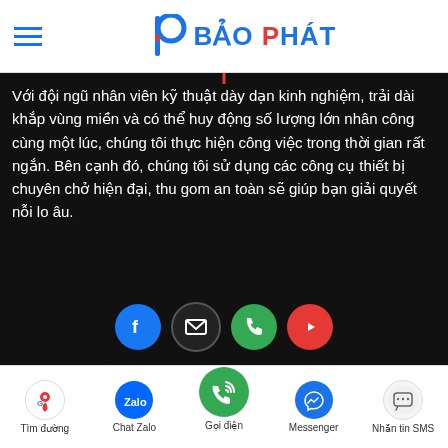BẢO PHÁT
Với đội ngũ nhân viên kỹ thuật dày dạn kinh nghiệm, trải dài khắp vùng miền và có thể huy động số lượng lớn nhân công cùng một lúc, chúng tôi thực hiện công việc trong thời gian rất ngắn. Bên cạnh đó, chúng tôi sử dụng các công cụ thiết bị chuyên chở hiện đại, thu gom an toàn sẽ giúp bạn giải quyết nỗi lo âu.
[Figure (infographic): Social media icons row: Facebook (blue circle), Email (dark circle with envelope), Phone (green circle), YouTube (red circle)]
Dịch vụ Bảo Phát
Vận chuyển xà bần
San lấp mặt bằng
Tìm đường | Chat Zalo | Gọi điện | Messenger | Nhắn tin SMS